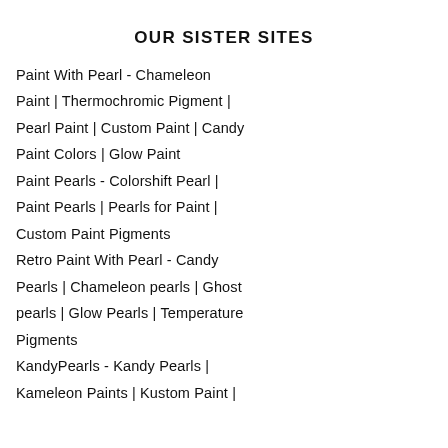OUR SISTER SITES
Paint With Pearl - Chameleon
Paint | Thermochromic Pigment |
Pearl Paint | Custom Paint | Candy
Paint Colors | Glow Paint
Paint Pearls - Colorshift Pearl |
Paint Pearls | Pearls for Paint |
Custom Paint Pigments
Retro Paint With Pearl - Candy
Pearls | Chameleon pearls | Ghost
pearls | Glow Pearls | Temperature
Pigments
KandyPearls - Kandy Pearls |
Kameleon Paints | Kustom Paint |